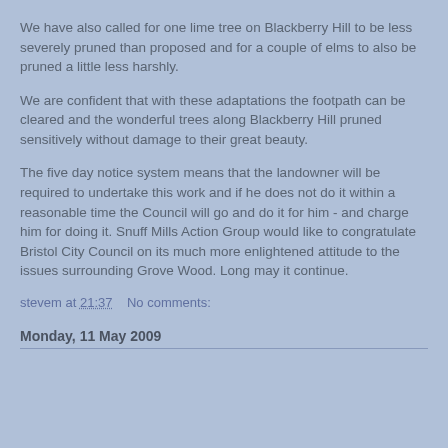We have also called for one lime tree on Blackberry Hill to be less severely pruned than proposed and for a couple of elms to also be pruned a little less harshly.
We are confident that with these adaptations the footpath can be cleared and the wonderful trees along Blackberry Hill pruned sensitively without damage to their great beauty.
The five day notice system means that the landowner will be required to undertake this work and if he does not do it within a reasonable time the Council will go and do it for him - and charge him for doing it. Snuff Mills Action Group would like to congratulate Bristol City Council on its much more enlightened attitude to the issues surrounding Grove Wood. Long may it continue.
stevem at 21:37    No comments:
Monday, 11 May 2009